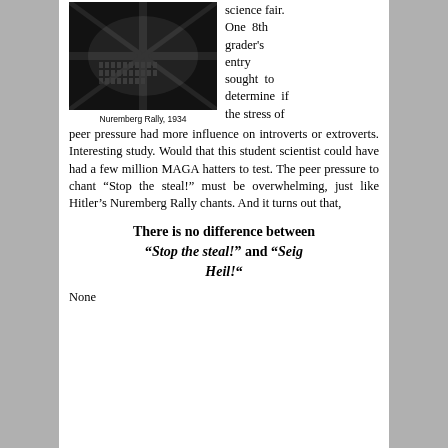[Figure (photo): Black and white aerial photograph of the Nuremberg Rally, 1934, showing rows of uniformed soldiers in formation]
Nuremberg Rally, 1934
science fair. One 8th grader's entry sought to determine if the stress of peer pressure had more influence on introverts or extroverts. Interesting study. Would that this student scientist could have had a few million MAGA hatters to test. The peer pressure to chant “Stop the steal!” must be overwhelming, just like Hitler’s Nuremberg Rally chants. And it turns out that,
There is no difference between “Stop the steal!” and “Seig Heil!“
None